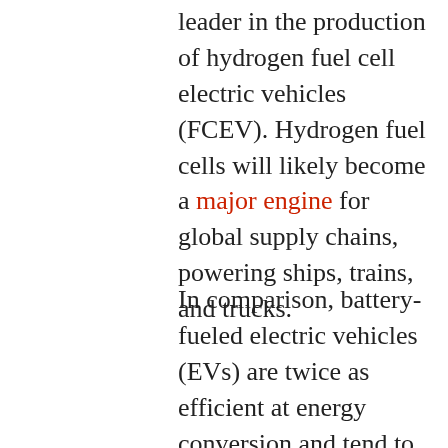leader in the production of hydrogen fuel cell electric vehicles (FCEV). Hydrogen fuel cells will likely become a major engine for global supply chains, powering ships, trains, and trucks.
In comparison, battery-fueled electric vehicles (EVs) are twice as efficient at energy conversion and tend to have a significantly longer range, causing many to question hydrogen's relevance for personal automobiles.
Nonetheless, South Korea is well positioned for trying to push FCEVs over EVs, because there are still very few EVs on South Korea's streets. Due